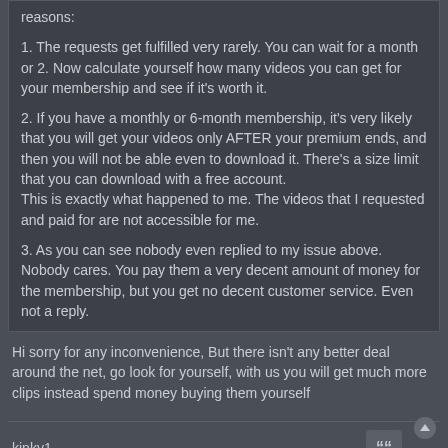reasons:
1. The requests get fulfilled very rarely. You can wait for a month or 2. Now calculate yourself how many videos you can get for your membership and see if it's worth it.
2. If you have a monthly or 6-month membership, it's very likely that you will get your videos only AFTER your premium ends, and then you will not be able even to download it. There's a size limit that you can download with a free account.
This is exactly what happened to me. The videos that I requested and paid for are not accessible for me.
3. As you can see nobody even replied to my issue above. Nobody cares. You pay them a very decent amount of money for the membership, but you get no decent customer service. Even not a reply.
Hi sorry for any inconvenience, But there isn't any better deal around the net, go look for yourself, with us you will get much more clips instead spend money buying them yourself
kinky1